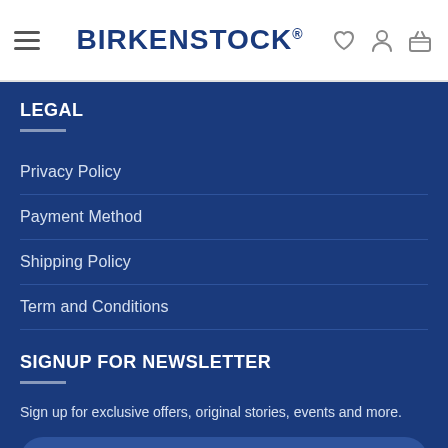BIRKENSTOCK
LEGAL
Privacy Policy
Payment Method
Shipping Policy
Term and Conditions
SIGNUP FOR NEWSLETTER
Sign up for exclusive offers, original stories, events and more.
Your Email (required)